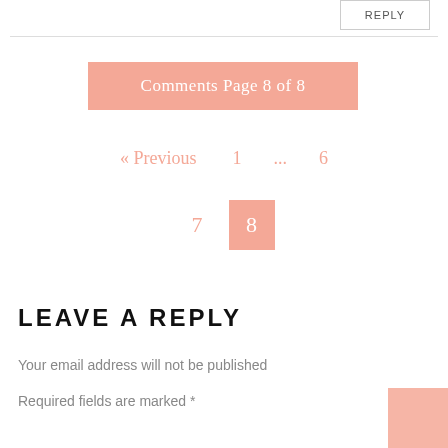REPLY
Comments Page 8 of 8
« Previous   1   ...   6
7   8
LEAVE A REPLY
Your email address will not be published
Required fields are marked *